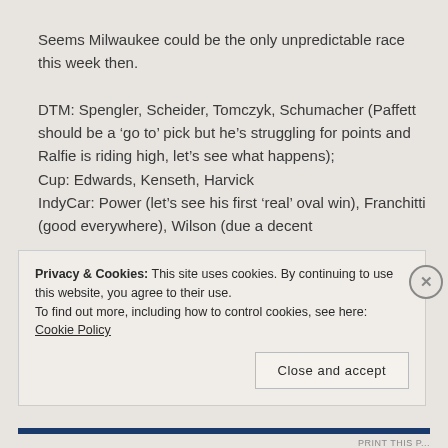Seems Milwaukee could be the only unpredictable race this week then.

DTM: Spengler, Scheider, Tomczyk, Schumacher (Paffett should be a 'go to' pick but he's struggling for points and Ralfie is riding high, let's see what happens);
Cup: Edwards, Kenseth, Harvick
IndyCar: Power (let's see his first 'real' oval win), Franchitti (good everywhere), Wilson (due a decent
Privacy & Cookies: This site uses cookies. By continuing to use this website, you agree to their use.
To find out more, including how to control cookies, see here: Cookie Policy
Close and accept